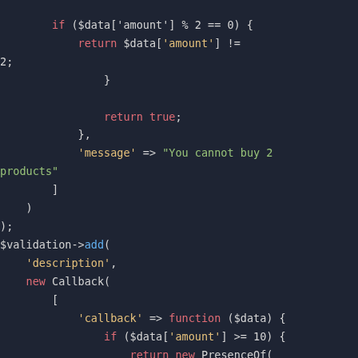[Figure (screenshot): PHP code snippet showing validation logic with callback functions, conditional checks on $data['amount'], and PresenceOf validation with custom messages. Dark-themed code editor screenshot.]